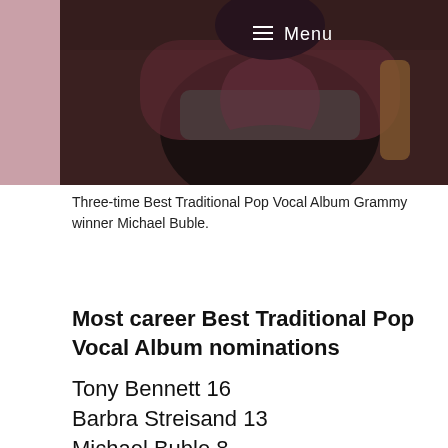[Figure (photo): Photo of Michael Buble in a dark leather jacket with a menu bar overlay at top]
Three-time Best Traditional Pop Vocal Album Grammy winner Michael Buble.
Most career Best Traditional Pop Vocal Album nominations
Tony Bennett 16
Barbra Streisand 13
Michael Buble 8
Rosemary Clooney 7
Harry Connick Jr. 7
Michael Feinstein 5